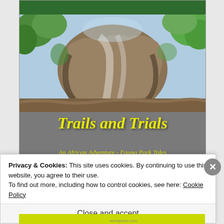[Figure (illustration): Book cover for 'Trails and Trials: An African Adventure - Fauna Park Tales'. Features a painted wildlife scene (large animal, possibly elephant or rhino) in browns and grays with green foliage, green top bar, gray lower section with yellow italic title text and subtitle.]
Privacy & Cookies: This site uses cookies. By continuing to use this website, you agree to their use.
To find out more, including how to control cookies, see here: Cookie Policy
Close and accept